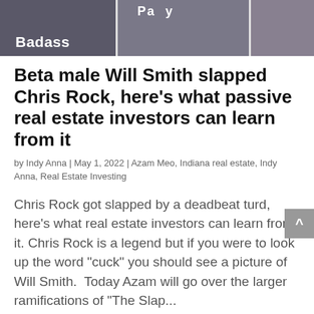[Figure (photo): Cropped photo strip showing three panels: left panel with 'Badass' text overlay on dark background, middle panel with 'Party' text, right panel showing a person in formal wear]
Beta male Will Smith slapped Chris Rock, here's what passive real estate investors can learn from it
by Indy Anna | May 1, 2022 | Azam Meo, Indiana real estate, Indy Anna, Real Estate Investing
Chris Rock got slapped by a deadbeat turd, here's what real estate investors can learn from it. Chris Rock is a legend but if you were to look up the word "cuck" you should see a picture of Will Smith.  Today Azam will go over the larger ramifications of "The Slap...